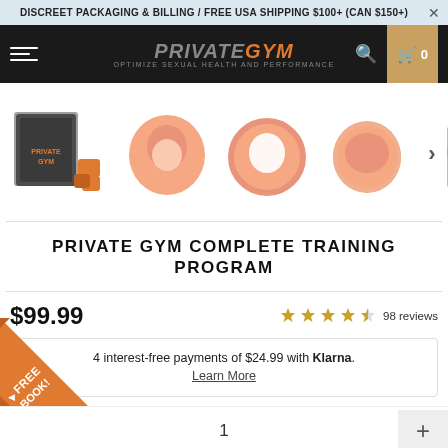DISCREET PACKAGING & BILLING / FREE USA SHIPPING $100+ (CAN $150+)
[Figure (logo): Private Gym logo with text 'OPTIMIZE SEXUAL HEALTH AND PERFORMANCE']
[Figure (photo): Product images carousel: Private Gym Complete Training Program kit box and individual silicone ring components shown in multiple product angles]
PRIVATE GYM COMPLETE TRAINING PROGRAM
$99.99
4.5 stars, 98 reviews
4 interest-free payments of $24.99 with Klarna. Learn More
COLOR: orange or gray swatch options
[Figure (infographic): Orange corner badge reading FREE BOOK!]